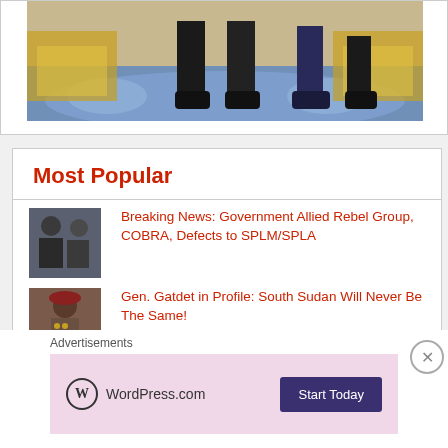[Figure (photo): Bottom portion of a photo showing people standing in a formal room with ornate gold chairs and a decorative blue carpet, likely a diplomatic meeting.]
Most Popular
Breaking News: Government Allied Rebel Group, COBRA, Defects to SPLM/SPLA
Gen. Gatdet in Profile: South Sudan Will Never Be The Same!
More Government Officials Killed In South Sudan
Advertisements
[Figure (screenshot): WordPress.com advertisement banner with logo and 'Start Today' button on a pink background.]